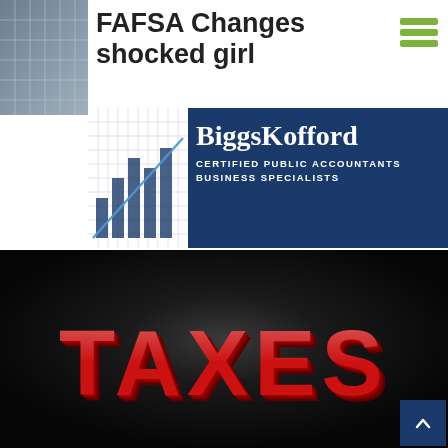[Figure (screenshot): Top navigation bar with fence/grid background photo on left, FAFSA Changes shocked girl headline text, and green hamburger menu icon on right]
FAFSA Changes shocked girl
[Figure (logo): BiggsKofford logo on dark blue background with white grid/chart icon and text: BiggsKofford CERTIFIED PUBLIC ACCOUNTANTS BUSINESS SPECIALISTS]
[Figure (photo): Dark background with large red 3D block letters spelling TAXES illuminated by spotlight from above]